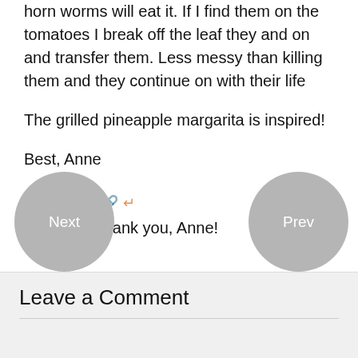horn worms will eat it. If I find them on the tomatoes I break off the leaf they and on and transfer them. Less messy than killing them and they continue on with their life
The grilled pineapple margarita is inspired!
Best, Anne
Shawnda
Oh, wow. Thank you, Anne!
Leave a Comment